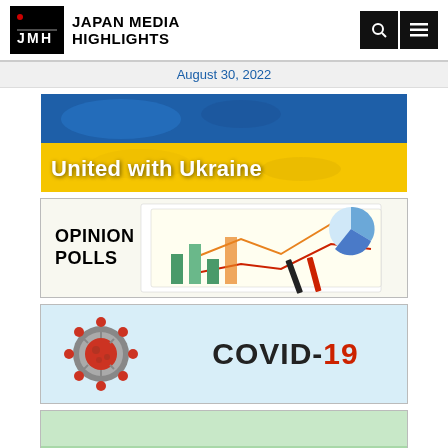JAPAN MEDIA HIGHLIGHTS
August 30, 2022
[Figure (illustration): Blue and yellow Ukrainian flag banner with text 'United with Ukraine' in white bold font]
[Figure (illustration): Opinion Polls banner with charts and graphs background, text 'OPINION POLLS' in black bold uppercase]
[Figure (illustration): COVID-19 banner with light blue background, coronavirus image on left, text 'COVID-19' with black and red coloring]
[Figure (illustration): Trending@Japan banner with green field and flowers background, italic text 'Trending@Japan']